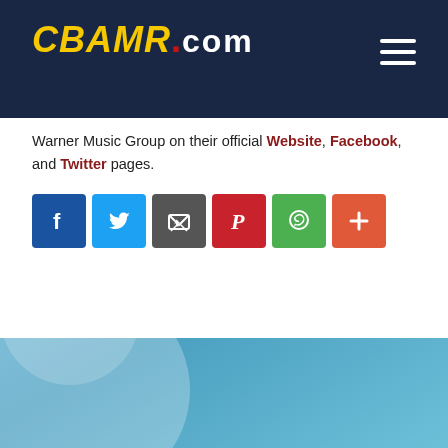CBAMR.COM
Warner Music Group on their official Website, Facebook, and Twitter pages.
[Figure (infographic): Social sharing buttons row: Facebook (blue), Twitter (light blue), Email (gray), Pinterest (red), WhatsApp (green), More/Plus (orange-red)]